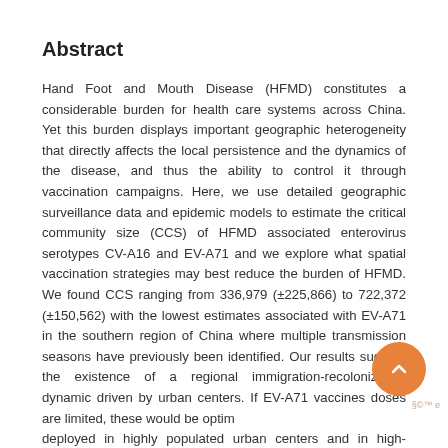Abstract
Hand Foot and Mouth Disease (HFMD) constitutes a considerable burden for health care systems across China. Yet this burden displays important geographic heterogeneity that directly affects the local persistence and the dynamics of the disease, and thus the ability to control it through vaccination campaigns. Here, we use detailed geographic surveillance data and epidemic models to estimate the critical community size (CCS) of HFMD associated enterovirus serotypes CV-A16 and EV-A71 and we explore what spatial vaccination strategies may best reduce the burden of HFMD. We found CCS ranging from 336,979 (±225,866) to 722,372 (±150,562) with the lowest estimates associated with EV-A71 in the southern region of China where multiple transmission seasons have previously been identified. Our results suggest the existence of a regional immigration-recolonization dynamic driven by urban centers. If EV-A71 vaccines doses are limited, these would be optimally deployed in highly populated urban centers and in high-prevalence areas. If HFMD vaccines are included in China's National Immunization Program in order to achieve high